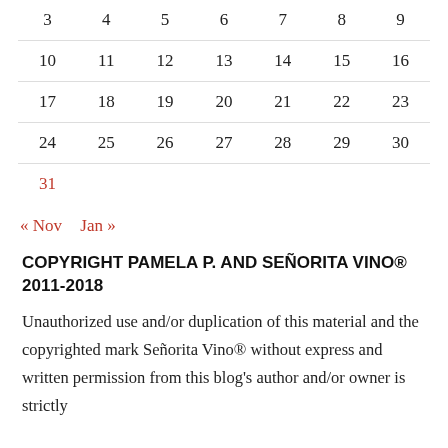| 3 | 4 | 5 | 6 | 7 | 8 | 9 |
| --- | --- | --- | --- | --- | --- | --- |
| 10 | 11 | 12 | 13 | 14 | 15 | 16 |
| 17 | 18 | 19 | 20 | 21 | 22 | 23 |
| 24 | 25 | 26 | 27 | 28 | 29 | 30 |
| 31 |  |  |  |  |  |  |
« Nov   Jan »
COPYRIGHT PAMELA P. AND SEÑORITA VINO® 2011-2018
Unauthorized use and/or duplication of this material and the copyrighted mark Señorita Vino® without express and written permission from this blog's author and/or owner is strictly